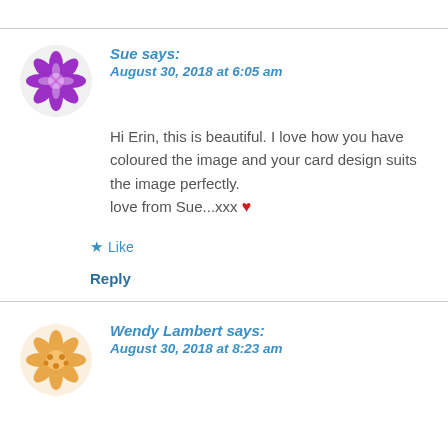[Figure (illustration): Purple decorative snowflake/flower avatar icon for user Sue]
Sue says:
August 30, 2018 at 6:05 am
Hi Erin, this is beautiful. I love how you have coloured the image and your card design suits the image perfectly.
love from Sue...xxx ❤
★ Like
Reply
[Figure (illustration): Gold/orange decorative star/flower avatar icon for user Wendy Lambert]
Wendy Lambert says:
August 30, 2018 at 8:23 am